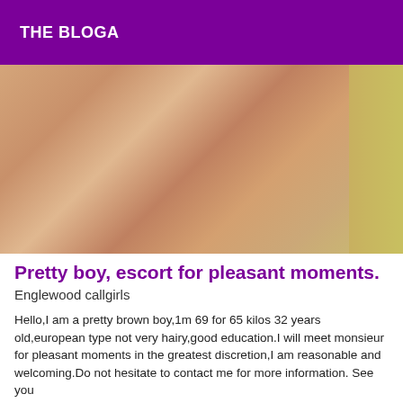THE BLOGA
[Figure (photo): Close-up photo of a person's torso and arm, skin-tone image with yellowish background on the right side.]
Pretty boy, escort for pleasant moments.
Englewood callgirls
Hello,I am a pretty brown boy,1m 69 for 65 kilos 32 years old,european type not very hairy,good education.I will meet monsieur for pleasant moments in the greatest discretion,I am reasonable and welcoming.Do not hesitate to contact me for more information. See you